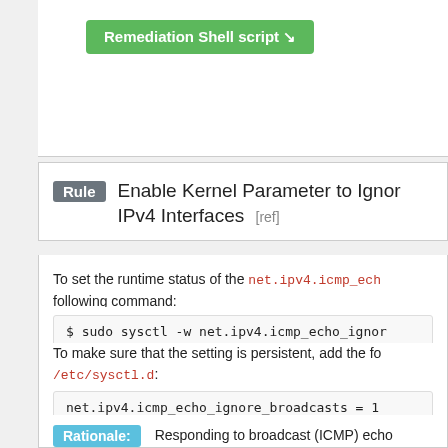Remediation Shell script ↘
Rule   Enable Kernel Parameter to Ignore Broadcast ICMP Requests on all IPv4 Interfaces   [ref]
To set the runtime status of the net.ipv4.icmp_echo_ignore_broadcasts kernel parameter, run the following command:
$ sudo sysctl -w net.ipv4.icmp_echo_ignore_broadcasts=1
To make sure that the setting is persistent, add the following line to a file in the /etc/sysctl.d:
net.ipv4.icmp_echo_ignore_broadcasts = 1
Rationale: Responding to broadcast (ICMP) echo requests facilitates network mapping and provides a vector for amplification attacks. Ignoring ICMP echo requests (pings) sent to broadcast or multicast addresses makes the system slightly more difficult to enumerate.